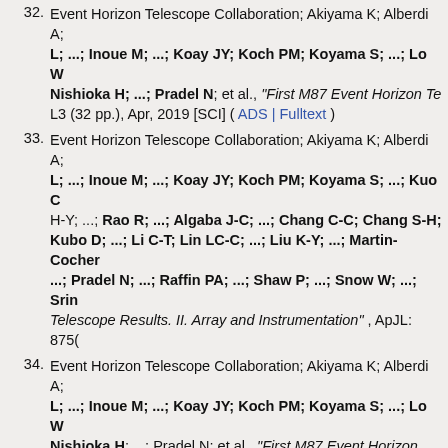32. Event Horizon Telescope Collaboration; Akiyama K; Alberdi A; L; ...; Inoue M; ...; Koay JY; Koch PM; Koyama S; ...; Lo W Nishioka H; ...; Pradel N; et al., "First M87 Event Horizon Te L3 (32 pp.), Apr, 2019 [SCI] ( ADS | Fulltext )
33. Event Horizon Telescope Collaboration; Akiyama K; Alberdi A; L; ...; Inoue M; ...; Koay JY; Koch PM; Koyama S; ...; Kuo C H-Y; ...; Rao R; ...; Algaba J-C; ...; Chang C-C; Chang S-H; Kubo D; ...; Li C-T; Lin LC-C; ...; Liu K-Y; ...; Martin-Cochen ...; Pradel N; ...; Raffin PA; ...; Shaw P; ...; Snow W; ...; Srin Telescope Results. II. Array and Instrumentation" , ApJL: 875(
34. Event Horizon Telescope Collaboration; Akiyama K; Alberdi A; L; ...; Inoue M; ...; Koay JY; Koch PM; Koyama S; ...; Lo W Nishioka H; ...; Pradel N; et al., "First M87 Event Horizon Tele 875(1), id. L5 (31 pp.), Apr, 2019 [SCI] ( ADS | Fulltext )
35. Event Horizon Telescope Collaboration; Akiyama K; Alberdi A; ...; Inoue M; ...; Koay JY; Koch PM; Koyama S; ...; Kuo C-Y Y; ...; Rao R; ...; Algaba J-C; ...; Chang C-C; Chang S-H; Ch ...; Hirota A; ...; Huang Y-D; ...; Jiang H; ...; Kimura K; ...; Li C Nishioka H; ...; Nystrom G; ...; Oshiro P; ...; Pradel N; ...; R Y; et al., "First M87 Event Horizon Telescope Results. I. The S Apr, 2019 [SCI] ( ADS | Fulltext )